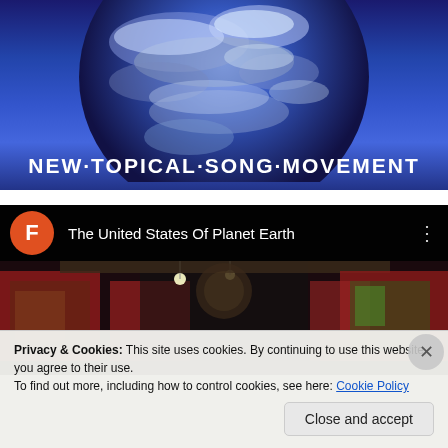[Figure (photo): Top portion of an album/project cover showing a blue-tinted Earth globe with text 'NEW·TOPICAL·SONG·MOVEMENT' in white bold letters at the bottom]
[Figure (screenshot): YouTube/video playlist UI panel showing a channel avatar 'F' in orange circle, title 'The United States Of Planet Earth', three-dot menu icon, and a dark stage scene below]
Privacy & Cookies: This site uses cookies. By continuing to use this website, you agree to their use.
To find out more, including how to control cookies, see here: Cookie Policy
Close and accept